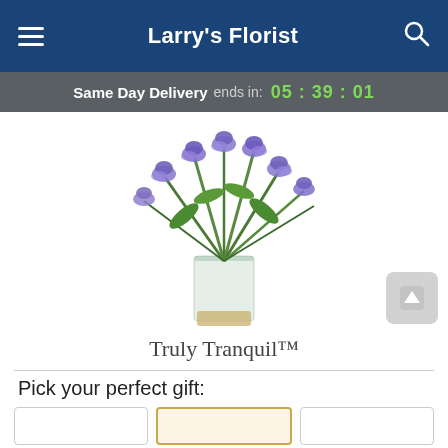Larry's Florist
Same Day Delivery ends in: 05 : 39 : 01
[Figure (photo): A bouquet of purple/blue iris flowers arranged in a clear glass cylinder vase with golden stones at the bottom, on a white background.]
Truly Tranquil™
Pick your perfect gift: